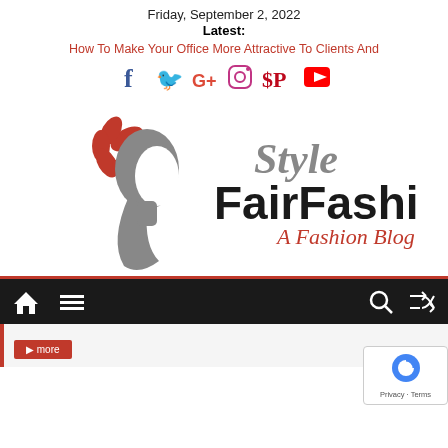Friday, September 2, 2022
Latest:
How To Make Your Office More Attractive To Clients And
[Figure (infographic): Social media icons: Facebook, Twitter, Google+, Instagram, Pinterest, YouTube]
[Figure (logo): FairFashion Style - A Fashion Blog logo with stylized woman silhouette in gray with red flower headpiece]
[Figure (screenshot): Navigation bar with home icon, hamburger menu, search icon, and shuffle icon on dark background]